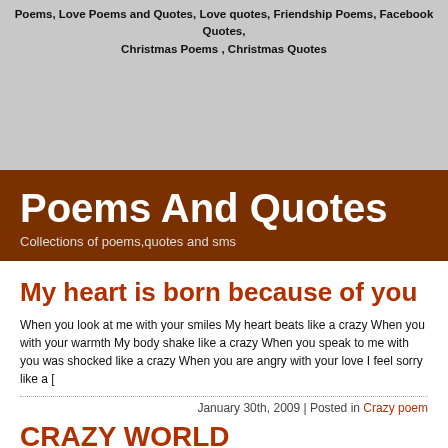Poems, Love Poems and Quotes, Love quotes, Friendship Poems, Facebook Quotes, Christmas Poems , Christmas Quotes
[Figure (other): Advertisement/banner area, light gray background]
Poems And Quotes
Collections of poems,quotes and sms
My heart is born because of you
When you look at me with your smiles My heart beats like a crazy When you with your warmth My body shake like a crazy When you speak to me with you was shocked like a crazy When you are angry with your love I feel sorry like a [
January 30th, 2009 | Posted in Crazy poem
CRAZY WORLD